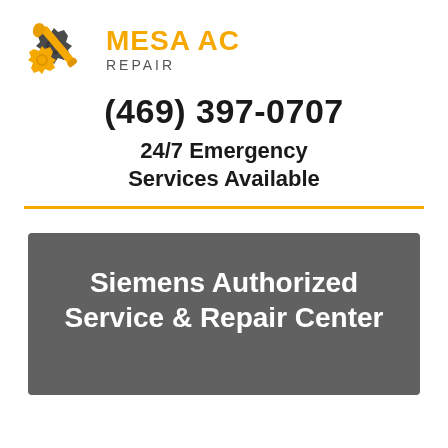[Figure (logo): Mesa AC Repair logo with wrench and gear icon in orange/black, with company name in orange bold text and REPAIR subtitle in gray]
(469) 397-0707
24/7 Emergency Services Available
Siemens Authorized Service & Repair Center